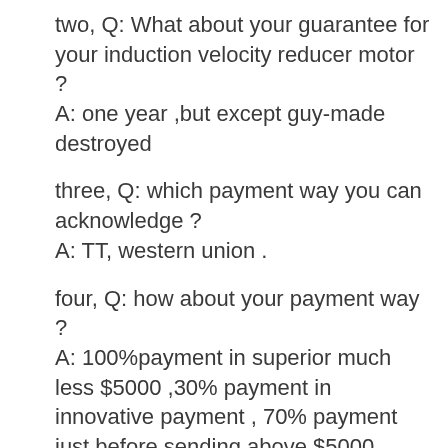two, Q: What about your guarantee for your induction velocity reducer motor ? A: one year ,but except guy-made destroyed
three, Q: which payment way you can acknowledge ? A: TT, western union .
four, Q: how about your payment way ? A: 100%payment in superior much less $5000 ,30% payment in innovative payment , 70% payment just before sending above $5000.
5, Q: how about your packing of speed reduction motor ?